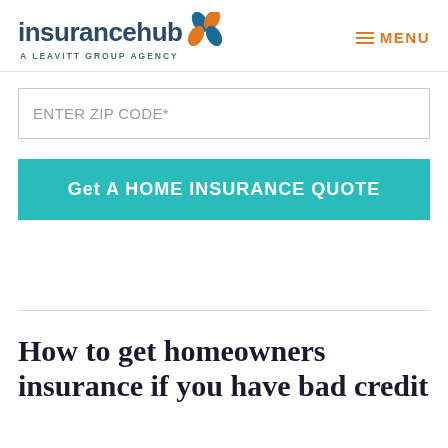insurancehub A LEAVITT GROUP AGENCY | MENU
ENTER ZIP CODE*
Get A HOME INSURANCE QUOTE
How to get homeowners insurance if you have bad credit